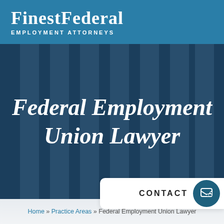FinestFederal EMPLOYMENT ATTORNEYS
Federal Employment Union Lawyer
Home » Practice Areas » Federal Employment Union Lawyer
CONTACT